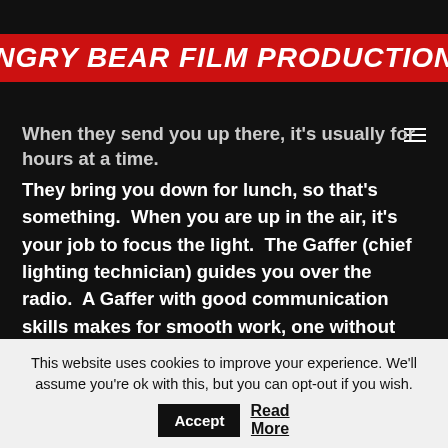Angry Bear Film Productions
When they send you up there, it's usually for hours at a time.  They bring you down for lunch, so that's something.  When you are up in the air, it's your job to focus the light.  The Gaffer (chief lighting technician) guides you over the radio.  A Gaffer with good communication skills makes for smooth work, one without those skills can lead to a lot of back and forth yelling, “You said pan the light lamp left, goddam you!”.  The worst thing is when the lamp malfunctions, the lift seizes up, or you accidentally tear a branch
This website uses cookies to improve your experience. We'll assume you're ok with this, but you can opt-out if you wish.
Accept
Read More